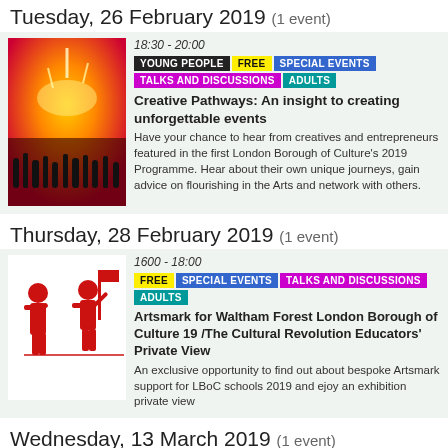Tuesday, 26 February 2019 (1 event)
[Figure (photo): Concert crowd with orange/red stage lighting]
18:30 - 20:00
YOUNG PEOPLE | FREE | SPECIAL EVENTS | TALKS AND DISCUSSIONS | ADULTS
Creative Pathways: An insight to creating unforgettable events
Have your chance to hear from creatives and entrepreneurs featured in the first London Borough of Culture's 2019 Programme. Hear about their own unique journeys, gain advice on flourishing in the Arts and network with others.
Thursday, 28 February 2019 (1 event)
[Figure (illustration): Red and white illustration of figures in revolutionary pose]
1600 - 18:00
FREE | SPECIAL EVENTS | TALKS AND DISCUSSIONS | ADULTS
Artsmark for Waltham Forest London Borough of Culture 19 /The Cultural Revolution Educators' Private View
An exclusive opportunity to find out about bespoke Artsmark support for LBoC schools 2019 and ejoy an exhibition private view
Wednesday, 13 March 2019 (1 event)
16:15 - 18:00